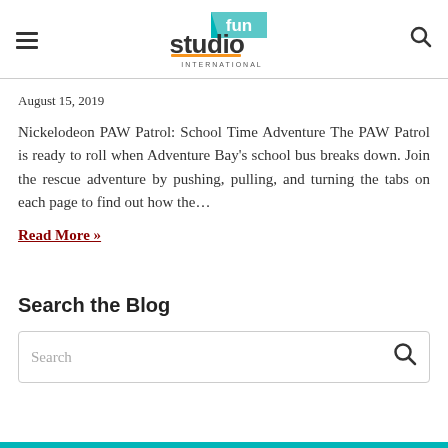Studio Fun International — navigation header with logo
August 15, 2019
Nickelodeon PAW Patrol: School Time Adventure The PAW Patrol is ready to roll when Adventure Bay's school bus breaks down. Join the rescue adventure by pushing, pulling, and turning the tabs on each page to find out how the…
Read More »
Search the Blog
Search